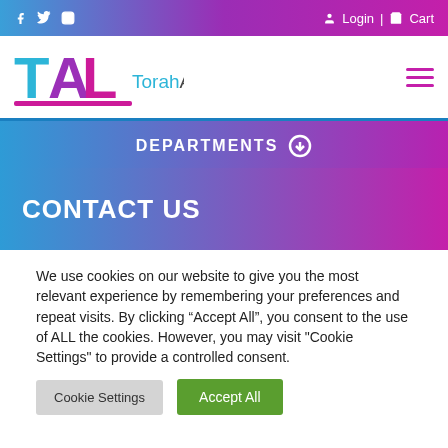f  Twitter  Instagram    Login  |  Cart
[Figure (logo): Torah Action Life logo with TAL letters, cyan and magenta, with text 'TorahActionLife']
DEPARTMENTS ⊕
CONTACT US
We use cookies on our website to give you the most relevant experience by remembering your preferences and repeat visits. By clicking “Accept All”, you consent to the use of ALL the cookies. However, you may visit "Cookie Settings" to provide a controlled consent.
Cookie Settings   Accept All